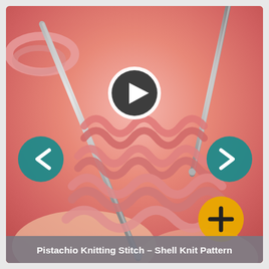[Figure (screenshot): Video thumbnail showing close-up of pink yarn being knitted with silver knitting needles. A circular play button (dark with white triangle) is centered in the upper portion. Teal circular navigation arrows appear on left and right sides. A gold/yellow plus button is in the lower right corner.]
Pistachio Knitting Stitch – Shell Knit Pattern